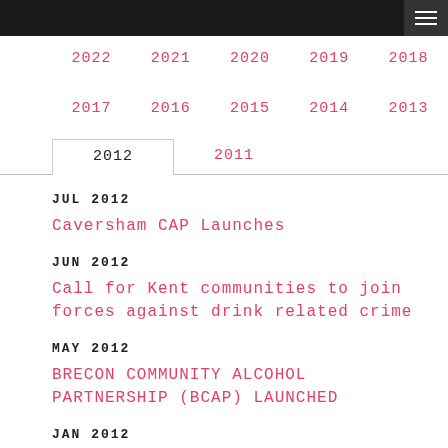Navigation header with year links
2022 2021 2020 2019 2018
2017 2016 2015 2014 2013
2012 (active) 2011
JUL 2012
Caversham CAP Launches
JUN 2012
Call for Kent communities to join forces against drink related crime
MAY 2012
BRECON COMMUNITY ALCOHOL PARTNERSHIP (BCAP) LAUNCHED
JAN 2012